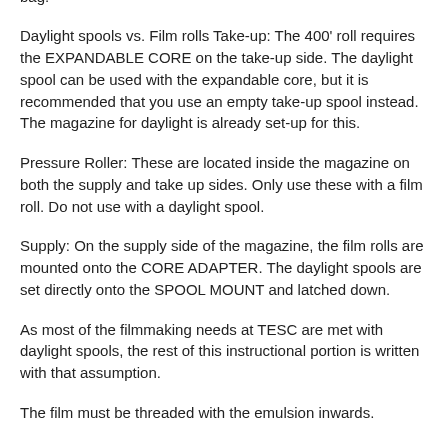film. The daylight spools can be loaded in dim lighting, but the 400' rolls need to be loaded in a dark room or changing bag.
Daylight spools vs. Film rolls Take-up: The 400' roll requires the EXPANDABLE CORE on the take-up side. The daylight spool can be used with the expandable core, but it is recommended that you use an empty take-up spool instead. The magazine for daylight is already set-up for this.
Pressure Roller: These are located inside the magazine on both the supply and take up sides. Only use these with a film roll. Do not use with a daylight spool.
Supply: On the supply side of the magazine, the film rolls are mounted onto the CORE ADAPTER. The daylight spools are set directly onto the SPOOL MOUNT and latched down.
As most of the filmmaking needs at TESC are met with daylight spools, the rest of this instructional portion is written with that assumption.
The film must be threaded with the emulsion inwards.